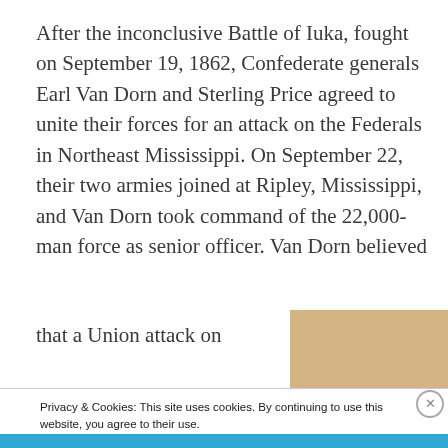After the inconclusive Battle of Iuka, fought on September 19, 1862, Confederate generals Earl Van Dorn and Sterling Price agreed to unite their forces for an attack on the Federals in Northeast Mississippi. On September 22, their two armies joined at Ripley, Mississippi, and Van Dorn took command of the 22,000-man force as senior officer. Van Dorn believed
that a Union attack on
[Figure (photo): Partial view of a historical photograph with a tan/brown color, partially obscured by the cookie banner overlay.]
Privacy & Cookies: This site uses cookies. By continuing to use this website, you agree to their use.
To find out more, including how to control cookies, see here: Cookie Policy
Close and accept